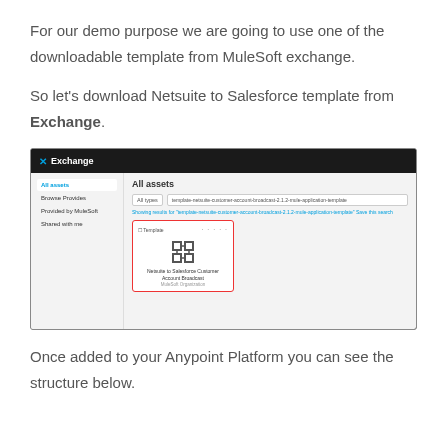For our demo purpose we are going to use one of the downloadable template from MuleSoft exchange.
So let's download Netsuite to Salesforce template from Exchange.
[Figure (screenshot): Screenshot of MuleSoft Anypoint Exchange interface showing 'All assets' page with a search result for 'template-netsuite-customer-account-broadcast-2.1.2-mule-application-template'. A card for 'Netsuite to Salesforce Customer Account Broadcast' by MuleSoft Organization is highlighted with a red border.]
Once added to your Anypoint Platform you can see the structure below.